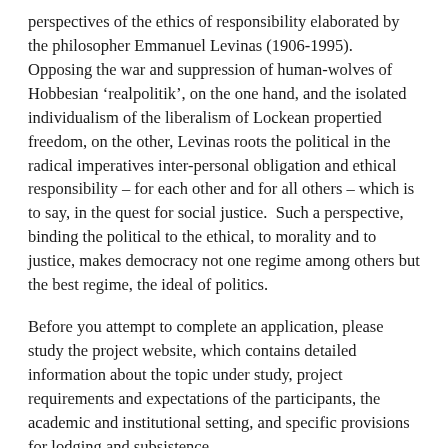perspectives of the ethics of responsibility elaborated by the philosopher Emmanuel Levinas (1906-1995).  Opposing the war and suppression of human-wolves of Hobbesian ‘realpolitik’, on the one hand, and the isolated individualism of the liberalism of Lockean propertied freedom, on the other, Levinas roots the political in the radical imperatives inter-personal obligation and ethical responsibility – for each other and for all others – which is to say, in the quest for social justice.  Such a perspective, binding the political to the ethical, to morality and to justice, makes democracy not one regime among others but the best regime, the ideal of politics.
Before you attempt to complete an application, please study the project website, which contains detailed information about the topic under study, project requirements and expectations of the participants, the academic and institutional setting, and specific provisions for lodging and subsistence.
To apply, send:
(1) A detailed résumé, curriculum vitae, or brief biography with